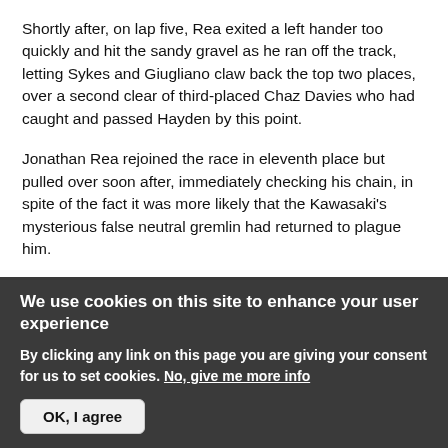Shortly after, on lap five, Rea exited a left hander too quickly and hit the sandy gravel as he ran off the track, letting Sykes and Giugliano claw back the top two places, over a second clear of third-placed Chaz Davies who had caught and passed Hayden by this point.
Jonathan Rea rejoined the race in eleventh place but pulled over soon after, immediately checking his chain, in spite of the fact it was more likely that the Kawasaki's mysterious false neutral gremlin had returned to plague him.
Eight laps in, with Davies still over a second behind
We use cookies on this site to enhance your user experience
By clicking any link on this page you are giving your consent for us to set cookies. No, give me more info
OK, I agree